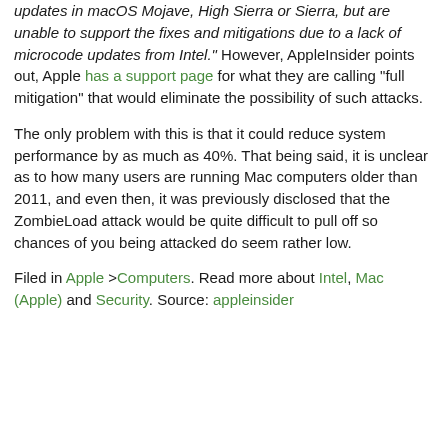updates in macOS Mojave, High Sierra or Sierra, but are unable to support the fixes and mitigations due to a lack of microcode updates from Intel." However, AppleInsider points out, Apple has a support page for what they are calling "full mitigation" that would eliminate the possibility of such attacks.
The only problem with this is that it could reduce system performance by as much as 40%. That being said, it is unclear as to how many users are running Mac computers older than 2011, and even then, it was previously disclosed that the ZombieLoad attack would be quite difficult to pull off so chances of you being attacked do seem rather low.
Filed in Apple >Computers. Read more about Intel, Mac (Apple) and Security. Source: appleinsider